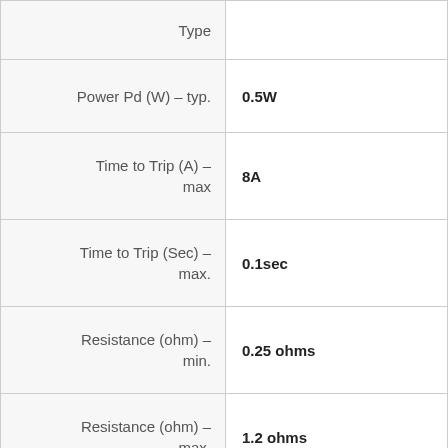| Parameter | Value |
| --- | --- |
| Type |  |
| Power Pd (W) – typ. | 0.5W |
| Time to Trip (A) – max | 8A |
| Time to Trip (Sec) – max. | 0.1sec |
| Resistance (ohm) – min. | 0.25 ohms |
| Resistance (ohm) – max. | 1.2 ohms |
| Size (mm) – max. | 2.30 x 1.50mm |
| Features | Faster Time to Trip |
| Series | MPTS-R |